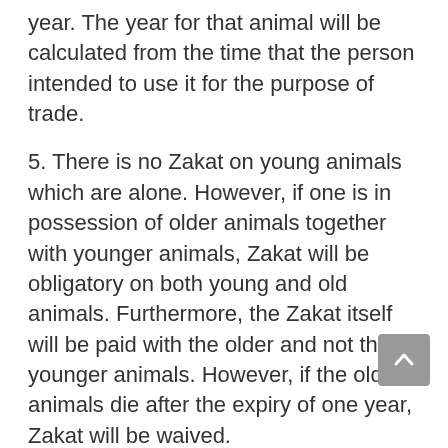year. The year for that animal will be calculated from the time that the person intended to use it for the purpose of trade.
5. There is no Zakat on young animals which are alone. However, if one is in possession of older animals together with younger animals, Zakat will be obligatory on both young and old animals. Furthermore, the Zakat itself will be paid with the older and not the younger animals. However, if the older animals die after the expiry of one year, Zakat will be waived.
6. There is no Zakat on animals which have been made waqf for the sake of Allah.
7. Zaka as well